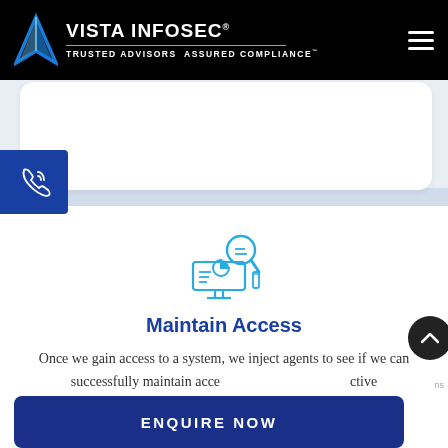[Figure (logo): Vista Infosec logo with blue V triangle, brand name in white on black header, tagline: TRUSTED ADVISORS ASSURED COMPLIANCE]
[Figure (illustration): Blue line icon of a computer monitor with a pie chart and magnifying glass]
Maintain Access
Once we gain access to a system, we inject agents to see if we can successfully maintain access... ctive of... ork